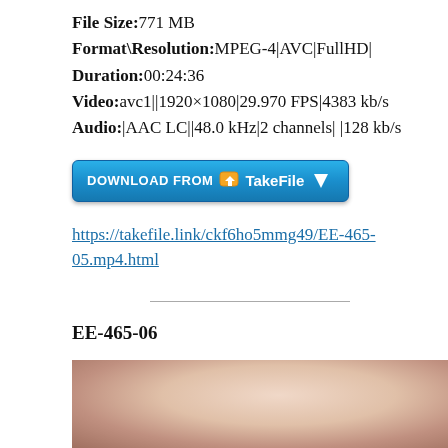File Size:771 MB
Format\Resolution:MPEG-4|AVC|FullHD|
Duration:00:24:36
Video:avc1||1920×1080|29.970 FPS|4383 kb/s
Audio:|AAC LC||48.0 kHz|2 channels| |128 kb/s
[Figure (other): Download from TakeFile button]
https://takefile.link/ckf6ho5mmg49/EE-465-05.mp4.html
EE-465-06
[Figure (photo): Partial photo visible at bottom of page]